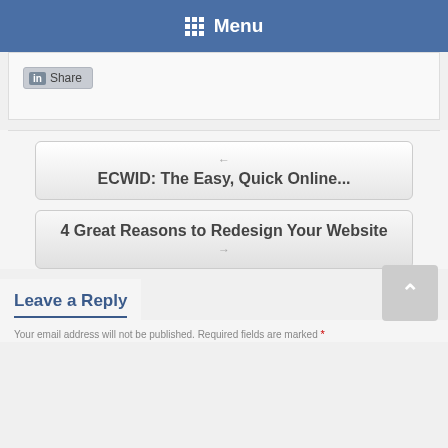Menu
[Figure (screenshot): LinkedIn Share button widget]
← ECWID: The Easy, Quick Online...
4 Great Reasons to Redesign Your Website →
Leave a Reply
Your email address will not be published. Required fields are marked *